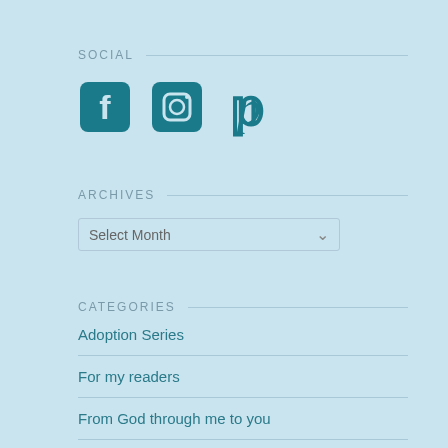SOCIAL
[Figure (illustration): Social media icons: Facebook, Instagram, Pinterest in teal color]
ARCHIVES
Select Month
CATEGORIES
Adoption Series
For my readers
From God through me to you